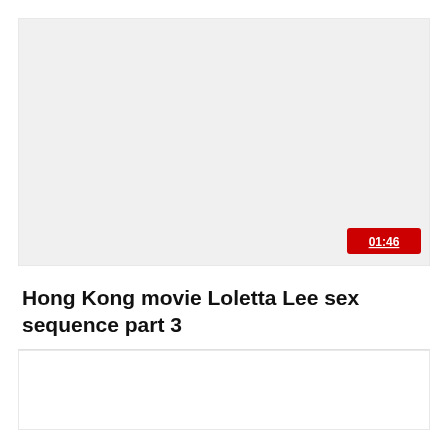[Figure (screenshot): Video thumbnail area — light gray rectangle representing a video preview with a red duration badge showing 01:46 in the bottom-right corner.]
Hong Kong movie Loletta Lee sex sequence part 3